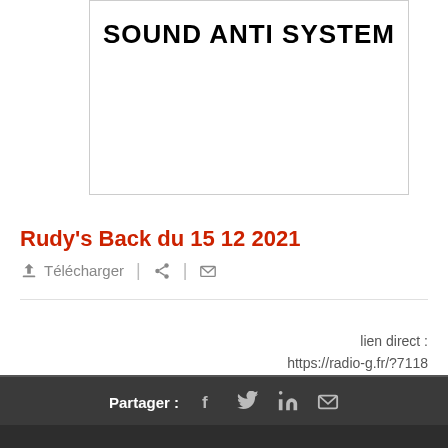[Figure (illustration): Album/show artwork box with bold uppercase text 'SOUND ANTI SYSTEM' at the top]
Rudy's Back du 15 12 2021
⬆ Télécharger  |  ≺  |  ✉
lien direct :
https://radio-g.fr/?7118
Partager : f  🐦  in  ✉